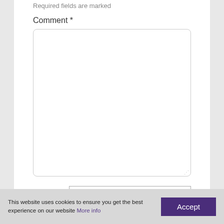Required fields are marked
Comment *
[Figure (other): Large comment text area input box with rounded corners and a resize handle in the bottom right corner]
Name *
[Figure (other): Name text input field]
This website uses cookies to ensure you get the best experience on our website More info  Accept